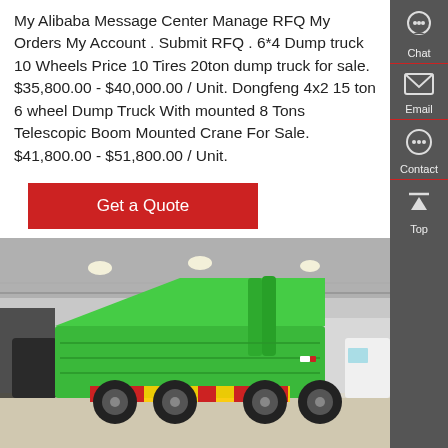My Alibaba Message Center Manage RFQ My Orders My Account . Submit RFQ . 6*4 Dump truck 10 Wheels Price 10 Tires 20ton dump truck for sale. $35,800.00 - $40,000.00 / Unit. Dongfeng 4x2 15 ton 6 wheel Dump Truck With mounted 8 Tons Telescopic Boom Mounted Crane For Sale. $41,800.00 - $51,800.00 / Unit.
[Figure (other): Red button labeled 'Get a Quote']
[Figure (photo): Photo of a bright green dump truck with the bed raised, displayed at an exhibition/trade show hall.]
[Figure (infographic): Dark gray sidebar with Chat, Email, Contact, and Top icons and labels.]